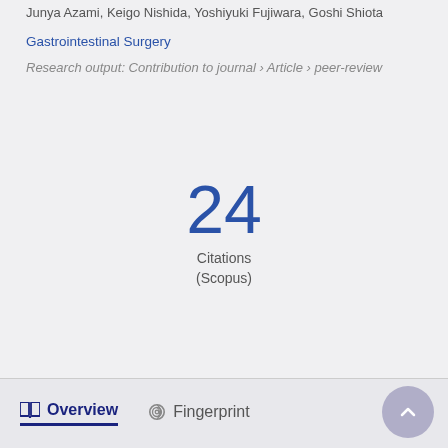Junya Azami, Keigo Nishida, Yoshiyuki Fujiwara, Goshi Shiota
Gastrointestinal Surgery
Research output: Contribution to journal › Article › peer-review
24
Citations
(Scopus)
Overview   Fingerprint